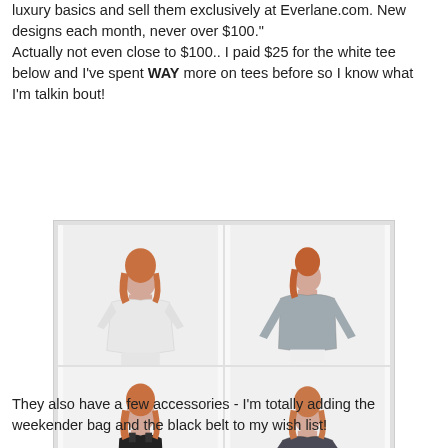luxury basics and sell them exclusively at Everlane.com. New designs each month, never over $100." Actually not even close to $100.. I paid $25 for the white tee below and I've spent WAY more on tees before so I know what I'm talkin bout!
[Figure (photo): A 2x2 grid of fashion photos showing women modeling clothing: top-left a woman in a white loose tee, top-right a woman in a grey long-sleeve top, bottom-left a woman in a black tank top, bottom-right a woman in a dark grey short-sleeve tee.]
They also have a few accessories - I'm totally adding the weekender bag and the black belt to my wish list!